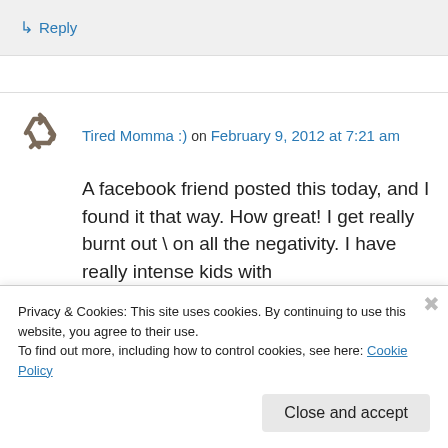↳ Reply
Tired Momma :) on February 9, 2012 at 7:21 am
A facebook friend posted this today, and I found it that way. How great! I get really burnt out \ on all the negativity. I have really intense kids with
Privacy & Cookies: This site uses cookies. By continuing to use this website, you agree to their use.
To find out more, including how to control cookies, see here: Cookie Policy
Close and accept